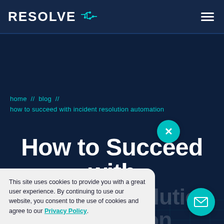RESOLVE
home // blog //
how to succeed with incident resolution automation
How to Succeed with Incident Resolution Automation
This site uses cookies to provide you with a great user experience. By continuing to use our website, you consent to the use of cookies and agree to our Privacy Policy.